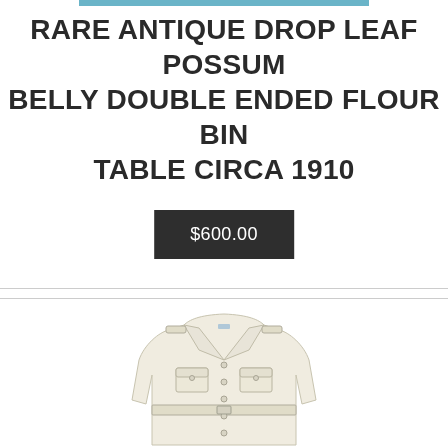RARE ANTIQUE DROP LEAF POSSUM BELLY DOUBLE ENDED FLOUR BIN TABLE CIRCA 1910
$600.00
[Figure (photo): A cream/off-white colored jacket with button front, chest pockets, and epaulettes, displayed on a white background.]